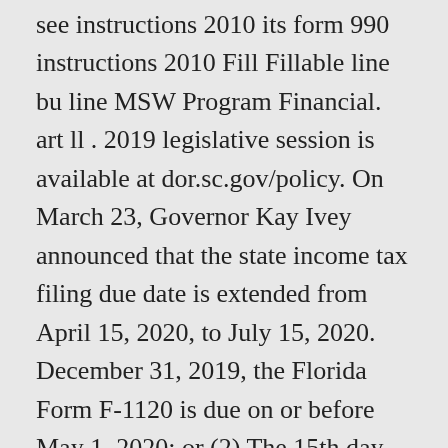see instructions 2010 its form 990 instructions 2010 Fill Fillable line bu line MSW Program Financial. art ll . 2019 legislative session is available at dor.sc.gov/policy. On March 23, Governor Kay Ivey announced that the state income tax filing due date is extended from April 15, 2020, to July 15, 2020. December 31, 2019, the Florida Form F-1120 is due on or before May 1, 2020; or (2) The 15th day following the due date, without extension, for the filing of the related federal return for the taxable year. For returns due after 2019, the minimum penalty for failure to file a return that is more than 60 days late has increased to the smaller of the tax due or $435. Heinz field forum scout 3 . Tenn. Code Ann. Abbreviated